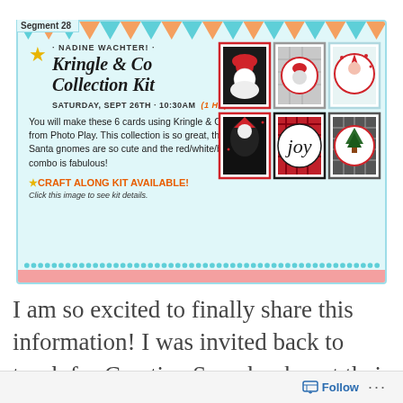Segment 28
· NADINE WACHTER! ·
Kringle & Co Collection Kit
SATURDAY, SEPT 26TH - 10:30AM (1 HR)
You will make these 6 cards using Kringle & Co from Photo Play. This collection is so great, the Santa gnomes are so cute and the red/white/black combo is fabulous!
★ CRAFT ALONG KIT AVAILABLE! Click this image to see kit details.
[Figure (photo): Grid of 6 Christmas-themed handmade cards featuring Santa gnomes in red, white, and black color scheme from Kringle & Co collection]
I am so excited to finally share this information! I was invited back to teach for Creative Scrapbooker at their Great